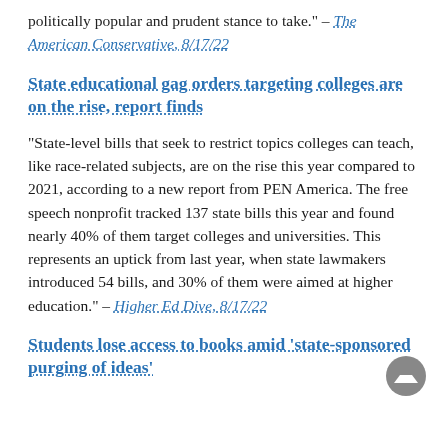politically popular and prudent stance to take." – The American Conservative, 8/17/22
State educational gag orders targeting colleges are on the rise, report finds
"State-level bills that seek to restrict topics colleges can teach, like race-related subjects, are on the rise this year compared to 2021, according to a new report from PEN America. The free speech nonprofit tracked 137 state bills this year and found nearly 40% of them target colleges and universities. This represents an uptick from last year, when state lawmakers introduced 54 bills, and 30% of them were aimed at higher education." – Higher Ed Dive, 8/17/22
Students lose access to books amid 'state-sponsored purging of ideas'